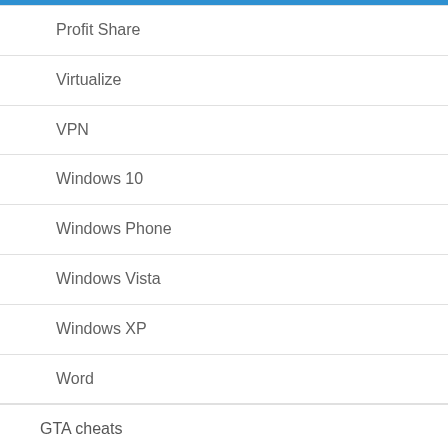Profit Share
Virtualize
VPN
Windows 10
Windows Phone
Windows Vista
Windows XP
Word
GTA cheats